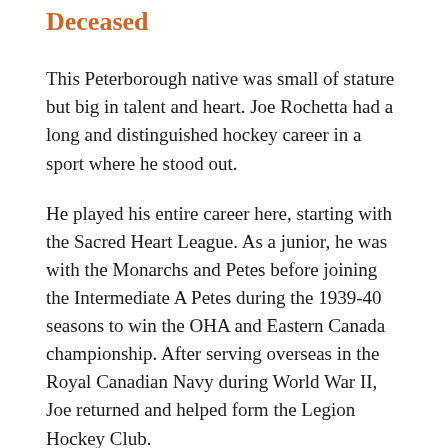Deceased
This Peterborough native was small of stature but big in talent and heart. Joe Rochetta had a long and distinguished hockey career in a sport where he stood out.
He played his entire career here, starting with the Sacred Heart League. As a junior, he was with the Monarchs and Petes before joining the Intermediate A Petes during the 1939-40 seasons to win the OHA and Eastern Canada championship. After serving overseas in the Royal Canadian Navy during World War II, Joe returned and helped form the Legion Hockey Club.
Rochetta was an integral part of the Legion and